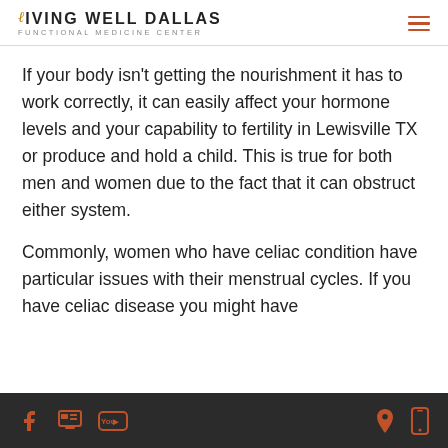LIVING WELL DALLAS Functional Medicine Center
If your body isn't getting the nourishment it has to work correctly, it can easily affect your hormone levels and your capability to fertility in Lewisville TX or produce and hold a child. This is true for both men and women due to the fact that it can obstruct either system.
Commonly, women who have celiac condition have particular issues with their menstrual cycles. If you have celiac disease you might have
Social media icons and contact icons